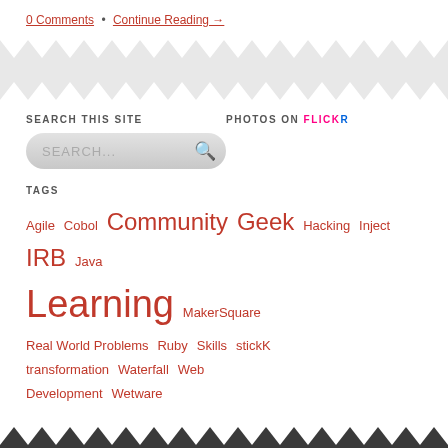0 Comments • Continue Reading →
SEARCH THIS SITE
PHOTOS ON FLICKR
TAGS
Agile Cobol Community Geek Hacking Inject IRB Java Learning MakerSquare Real World Problems Ruby Skills stickK transformation Waterfall Web Development Wetware
Cobol to Ruby & Back © 2022. All Rights Reserved.